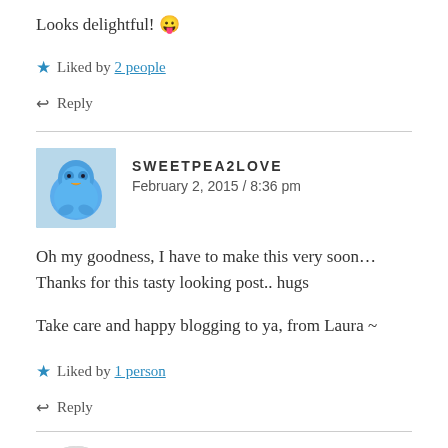Looks delightful! 😛
★ Liked by 2 people
↩ Reply
SWEETPEA2LOVE
February 2, 2015 / 8:36 pm
Oh my goodness, I have to make this very soon... Thanks for this tasty looking post.. hugs
Take care and happy blogging to ya, from Laura ~
★ Liked by 1 person
↩ Reply
HARRIETYOUNG38